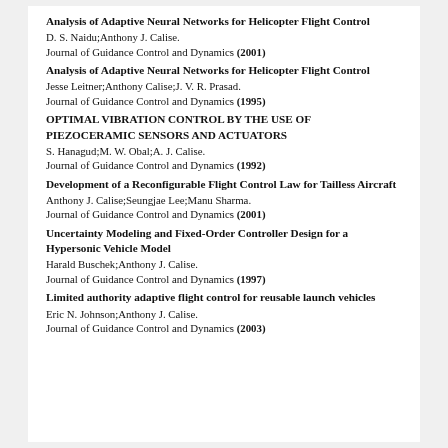Analysis of Adaptive Neural Networks for Helicopter Flight Control
D. S. Naidu;Anthony J. Calise.
Journal of Guidance Control and Dynamics (2001)
Analysis of Adaptive Neural Networks for Helicopter Flight Control
Jesse Leitner;Anthony Calise;J. V. R. Prasad.
Journal of Guidance Control and Dynamics (1995)
OPTIMAL VIBRATION CONTROL BY THE USE OF PIEZOCERAMIC SENSORS AND ACTUATORS
S. Hanagud;M. W. Obal;A. J. Calise.
Journal of Guidance Control and Dynamics (1992)
Development of a Reconfigurable Flight Control Law for Tailless Aircraft
Anthony J. Calise;Seungjae Lee;Manu Sharma.
Journal of Guidance Control and Dynamics (2001)
Uncertainty Modeling and Fixed-Order Controller Design for a Hypersonic Vehicle Model
Harald Buschek;Anthony J. Calise.
Journal of Guidance Control and Dynamics (1997)
Limited authority adaptive flight control for reusable launch vehicles
Eric N. Johnson;Anthony J. Calise.
Journal of Guidance Control and Dynamics (2003)